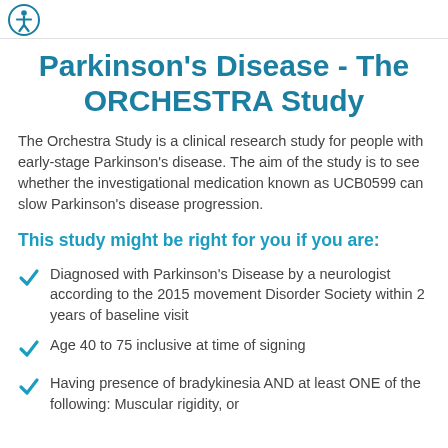Parkinson's Disease - The ORCHESTRA Study
The Orchestra Study is a clinical research study for people with early-stage Parkinson's disease. The aim of the study is to see whether the investigational medication known as UCB0599 can slow Parkinson's disease progression.
This study might be right for you if you are:
Diagnosed with Parkinson's Disease by a neurologist according to the 2015 movement Disorder Society within 2 years of baseline visit
Age 40 to 75 inclusive at time of signing
Having presence of bradykinesia AND at least ONE of the following: Muscular rigidity, or